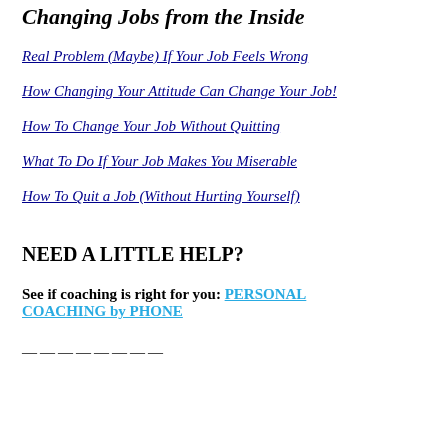Changing Jobs from the Inside
Real Problem (Maybe) If Your Job Feels Wrong
How Changing Your Attitude Can Change Your Job!
How To Change Your Job Without Quitting
What To Do If Your Job Makes You Miserable
How To Quit a Job (Without Hurting Yourself)
NEED A LITTLE HELP?
See if coaching is right for you: PERSONAL COACHING by PHONE
————————